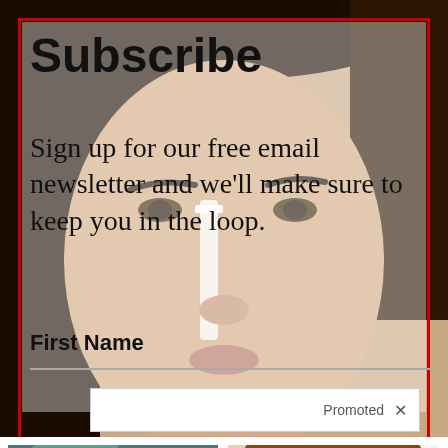[Figure (photo): A woman's face close-up used as background for a newsletter subscription popup. She has dark hair and appears to be applying something to her face. Red border surrounds the subscription box overlay.]
Subscribe
Sign up for our free email newsletter and we'll make sure to keep you in the loop.
First Name
Promoted ×
[Figure (photo): Photo of gutter cleaning - a gloved hand holding a gutter cleaning tool against a dark gutter]
Search For Professional Gutter Cleaning In Your Area
🔥 2,077
[Figure (photo): Photo of a man making an exaggerated wide-eyed expression with a video play button overlay in the center]
Revolutionary New Method Treats Gum Disease And Tooth Decay